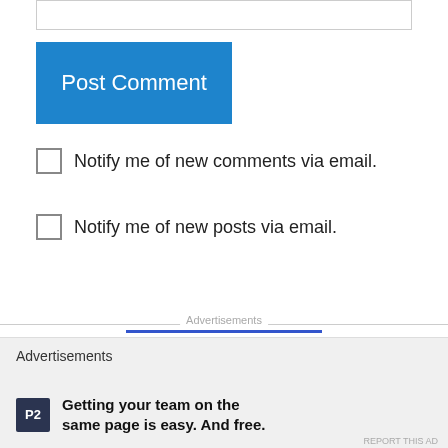[Figure (screenshot): Text input box at top of page]
Post Comment
Notify me of new comments via email.
Notify me of new posts via email.
Advertisements
[Figure (logo): Pressable logo with P icon and Pressable text, with dots below]
Advertisements
Getting your team on the same page is easy. And free.
REPORT THIS AD